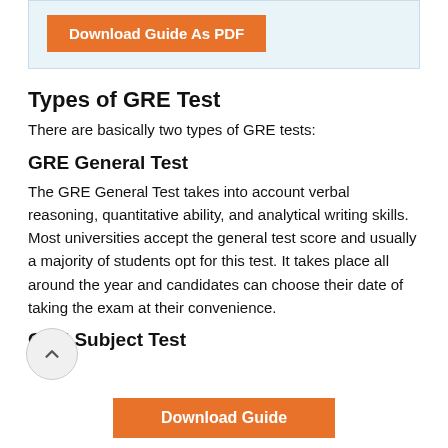[Figure (other): Blue-tinted box with an orange 'Download Guide As PDF' button]
Types of GRE Test
There are basically two types of GRE tests:
GRE General Test
The GRE General Test takes into account verbal reasoning, quantitative ability, and analytical writing skills. Most universities accept the general test score and usually a majority of students opt for this test. It takes place all around the year and candidates can choose their date of taking the exam at their convenience.
GRE Subject Test